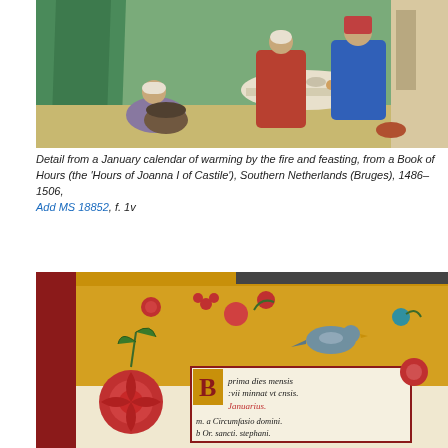[Figure (illustration): Medieval manuscript illumination showing a January calendar scene with figures warming by a fire and feasting at a table. A woman in white headdress kneels by a large pot, while two figures in colorful robes sit at a round table dining, with a green curtained background.]
Detail from a January calendar of warming by the fire and feasting, from a Book of Hours (the 'Hours of Joanna I of Castile'), Southern Netherlands (Bruges), 1486–1506, Add MS 18852, f. 1v
[Figure (illustration): Medieval illuminated manuscript page showing a Book of Hours with decorated border containing roses, leaves, berries, and a bird. The text panel shows Latin calendar entries including 'Prima dies mensis', 'Januarius', 'm. a Circumfasio domini.', 'b Or. sancti Stephani.' with an ornate initial letter.]